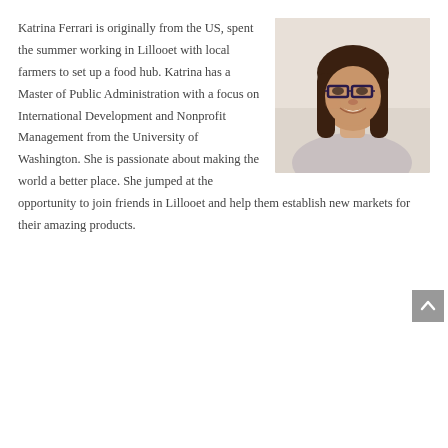Katrina Ferrari is originally from the US, spent the summer working in Lillooet with local farmers to set up a food hub. Katrina has a Master of Public Administration with a focus on International Development and Nonprofit Management from the University of Washington. She is passionate about making the world a better place. She jumped at the opportunity to join friends in Lillooet and help them establish new markets for their amazing products.
[Figure (photo): Portrait photo of Katrina Ferrari, a woman with long brown hair wearing glasses, smiling, against a light background.]